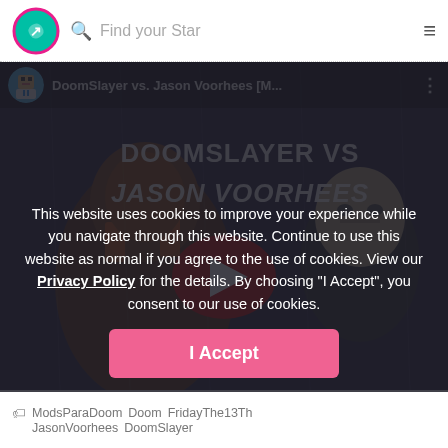Find your Star
[Figure (screenshot): YouTube video thumbnail showing DoomSlayer vs. Jason Voorhees with play button overlay. Video title: DoomSlayer vs. Jason Voorhees [M... with a gaming channel avatar icon.]
This website uses cookies to improve your experience while you navigate through this website. Continue to use this website as normal if you agree to the use of cookies. View our Privacy Policy for the details. By choosing "I Accept", you consent to our use of cookies.
I Accept
ModsParaDoom  Doom  FridayThe13Th  JasonVoorhees  DoomSlayer